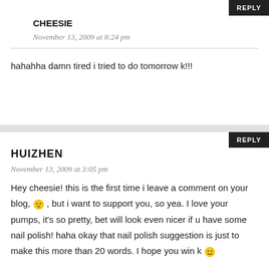CHEESIE
November 13, 2009 at 8:24 pm
hahahha damn tired i tried to do tomorrow k!!!
HUIZHEN
November 13, 2009 at 3:05 pm
Hey cheesie! this is the first time i leave a comment on your blog, 😶 , but i want to support you, so yea. I love your pumps, it's so pretty, bet will look even nicer if u have some nail polish! haha okay that nail polish suggestion is just to make this more than 20 words. I hope you win k 🙂
CHEESIE
November 13, 2009 at 8:24